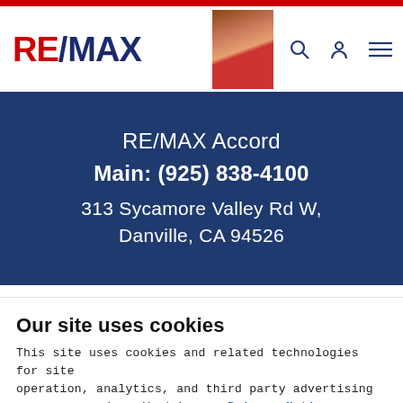RE/MAX
RE/MAX Accord
Main: (925) 838-4100
313 Sycamore Valley Rd W,
Danville, CA 94526
This page contains advertisements.
Licensed in CA. Each office independently owned and operated. If
Our site uses cookies
This site uses cookies and related technologies for site operation, analytics, and third party advertising purposes as described in our Privacy Notice .
ACCEPT